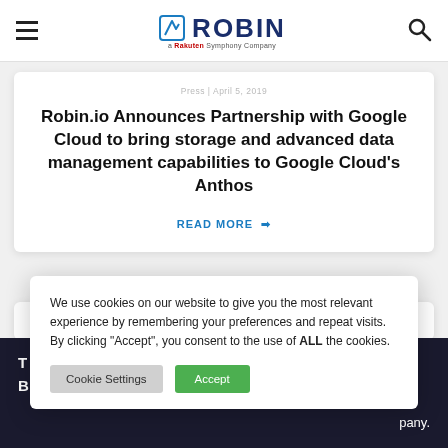ROBIN — a Rakuten Symphony Company
Press | April 5, 2019
Robin.io Announces Partnership with Google Cloud to bring storage and advanced data management capabilities to Google Cloud's Anthos
READ MORE →
We use cookies on our website to give you the most relevant experience by remembering your preferences and repeat visits. By clicking "Accept", you consent to the use of ALL the cookies.
Cookie Settings | Accept